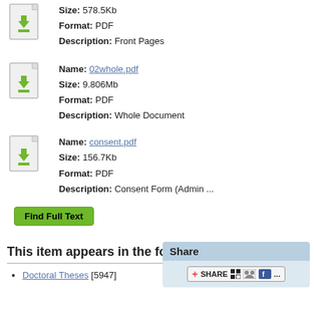Size: 578.5Kb  Format: PDF  Description: Front Pages
Name: 02whole.pdf  Size: 9.806Mb  Format: PDF  Description: Whole Document
Name: consent.pdf  Size: 156.7Kb  Format: PDF  Description: Consent Form (Admin ...
Find Full Text
This item appears in the following Collection(s)
Doctoral Theses [5947]
Share